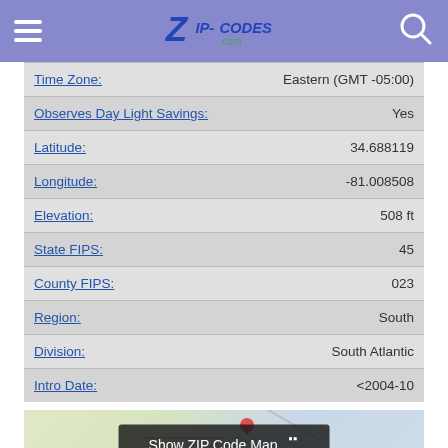Zip-Codes.com
| Field | Value |
| --- | --- |
| Time Zone: | Eastern (GMT -05:00) |
| Observes Day Light Savings: | Yes |
| Latitude: | 34.688119 |
| Longitude: | -81.008508 |
| Elevation: | 508 ft |
| State FIPS: | 45 |
| County FIPS: | 023 |
| Region: | South |
| Division: | South Atlantic |
| Intro Date: | <2004-10 |
[Figure (map): ZIP Code map preview with 'Show ZIP Code Map' overlay button]